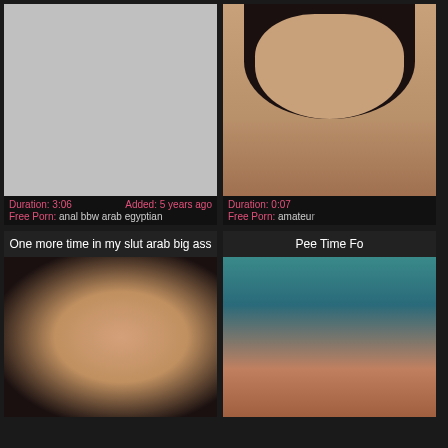[Figure (photo): Gray placeholder thumbnail for video]
Duration: 3:06   Added: 5 years ago
Free Porn: anal bbw arab egyptian
[Figure (photo): Partial photo of dark-haired person]
Duration: 0:07
Free Porn: amateur
One more time in my slut arab big ass
Pee Time Fo
[Figure (photo): Video thumbnail showing explicit content]
[Figure (photo): Video thumbnail showing medical/explicit content with teal background]